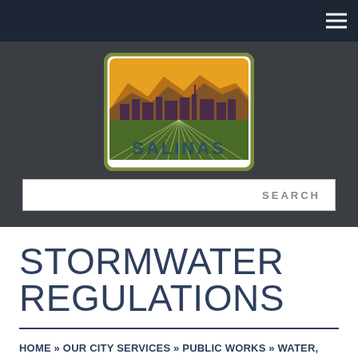Navigation bar with hamburger menu
[Figure (logo): City of Salinas logo — rectangular logo with green border showing a cityscape silhouette against mountains and golden sky above agricultural fields with perspective lines, with SALINAS text below in teal/dark blue]
SEARCH
STORMWATER REGULATIONS
HOME » OUR CITY SERVICES » PUBLIC WORKS » WATER, WASTE, & ENERGY » STORMWATER PROGRAM » STORMWATER REGULATIONS